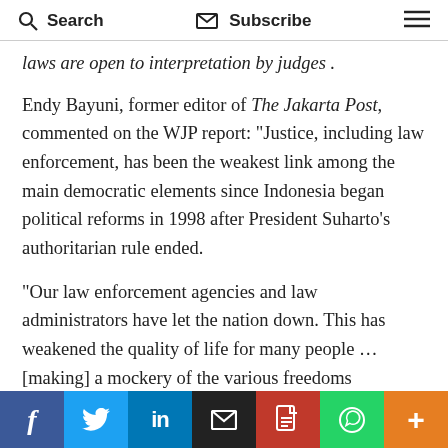Search   Subscribe   ≡
laws are open to interpretation by judges .
Endy Bayuni, former editor of The Jakarta Post, commented on the WJP report: "Justice, including law enforcement, has been the weakest link among the main democratic elements since Indonesia began political reforms in 1998 after President Suharto's authoritarian rule ended.
"Our law enforcement agencies and law administrators have let the nation down. This has weakened the quality of life for many people … [making] a mockery of the various freedoms